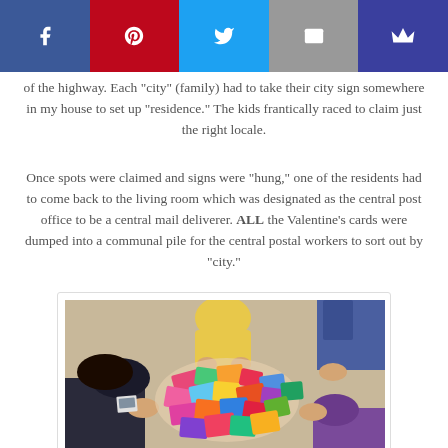[Figure (other): Social media share bar with Facebook, Pinterest, Twitter, Email, and Crown buttons]
of the highway. Each "city" (family) had to take their city sign somewhere in my house to set up "residence." The kids frantically raced to claim just the right locale.
Once spots were claimed and signs were "hung," one of the residents had to come back to the living room which was designated as the central post office to be a central mail deliverer. ALL the Valentine's cards were dumped into a communal pile for the central postal workers to sort out by "city."
[Figure (photo): Overhead photo of children sitting on floor sorting Valentine's Day cards in a communal pile]